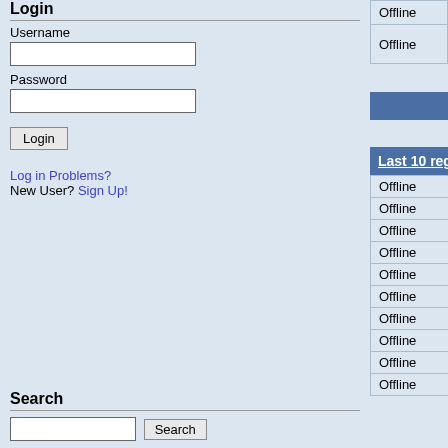Login
Username
Password
Log in Problems?
New User? Sign Up!
Search
| Status | Username | Real Name |  |
| --- | --- | --- | --- |
| Offline | huzocxNEDf |  |  |
| Offline | Hyrkanian | Marco Concoreggi |  |
We have 59 guests and 0 members online
7 users found for H
Last 10 registered users:
| Status | Username | Date |  |  |
| --- | --- | --- | --- | --- |
| Offline | tVcyMfvwbP | 25.02.2010 |  | - |
| Offline | XnCcFBgXBk | 01.04.2009 |  | - |
| Offline | oPGYcQUwpf | 31.03.2009 |  | - |
| Offline | MHYjauoMhc | 30.03.2009 |  | - |
| Offline | DvMzMvGGgO | 30.03.2009 |  | - |
| Offline | azYOLqGcUP | 28.03.2009 |  | - |
| Offline | YAkNKwLNiA | 28.03.2009 |  | - |
| Offline | wTLhfKTHNz | 28.03.2009 |  | - |
| Offline | kPQzdHaEEN | 27.03.2009 |  | - |
| Offline | IDpLQcFcdZ | 25.03.2009 |  | - |
|Back to to